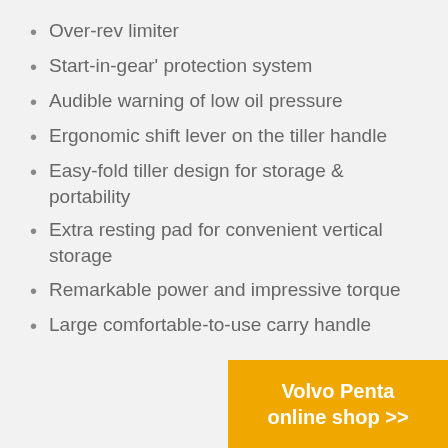Over-rev limiter
Start-in-gear' protection system
Audible warning of low oil pressure
Ergonomic shift lever on the tiller handle
Easy-fold tiller design for storage & portability
Extra resting pad for convenient vertical storage
Remarkable power and impressive torque
Large comfortable-to-use carry handle
Volvo Penta online shop >>